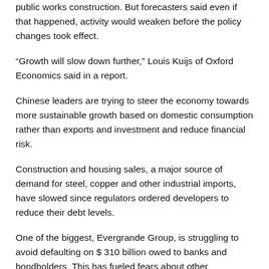public works construction. But forecasters said even if that happened, activity would weaken before the policy changes took effect.
“Growth will slow down further,” Louis Kuijs of Oxford Economics said in a report.
Chinese leaders are trying to steer the economy towards more sustainable growth based on domestic consumption rather than exports and investment and reduce financial risk.
Construction and housing sales, a major source of demand for steel, copper and other industrial imports, have slowed since regulators ordered developers to reduce their debt levels.
One of the biggest, Evergrande Group, is struggling to avoid defaulting on $ 310 billion owed to banks and bondholders. This has fueled fears about other developers, although economists say the threat to global financial markets is low.